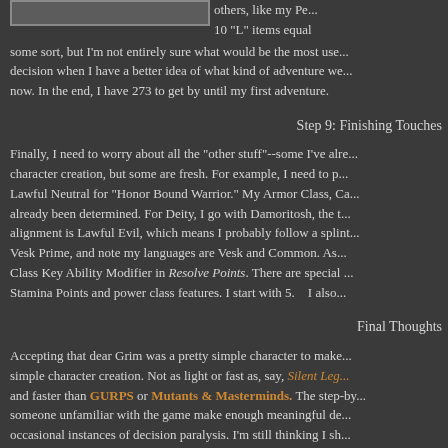[Figure (screenshot): Screenshot or image placeholder at top left of page, showing a UI element or table with light background]
others, like my Pe... 10 "L" items equal some sort, but I'm not entirely sure what would be the most use... decision when I have a better idea of what kind of adventure we... now. In the end, I have 273 to get by until my first adventure.
Step 9: Finishing Touches
Finally, I need to worry about all the "other stuff"--some I've alre... character creation, but some are fresh. For example, I need to p... Lawful Neutral for "Honor Bound Warrior." My Armor Class, Ca... already been determined. For Deity, I go with Damoritosh, the t... alignment is Lawful Evil, which means I probably follow a splint... Vesk Prime, and note my languages are Vesk and Common. As... Class Key Ability Modifier in Resolve Points. There are special ... Stamina Points and power class features. I start with 5.   I also...
Final Thoughts
Accepting that dear Grim was a pretty simple character to make... simple character creation. Not as light or fast as, say, Silent Leg... and faster than GURPS or Mutants & Masterminds. The step-by... someone unfamiliar with the game make enough meaningful de... occasional instances of decision paralysis. I'm still thinking I sh... Intelligence a tad--having a character with almost no skills feels...